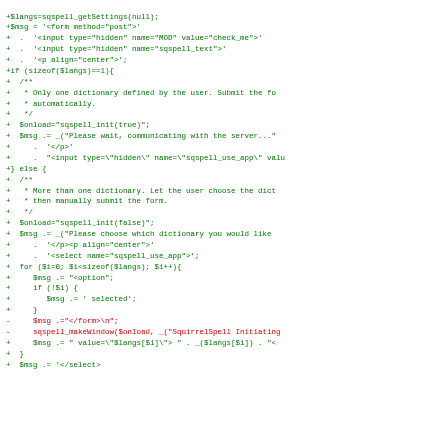Code diff showing PHP code for sqspell dictionary handling